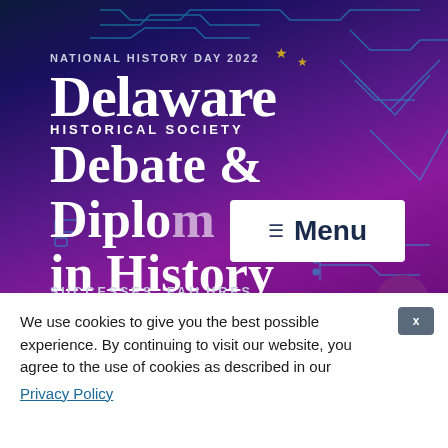[Figure (screenshot): Delaware Historical Society website banner for National History Day 2022. Purple/blue gradient background with circuit-line pattern. Shows 'NATIONAL HISTORY DAY 2022' with gold stars, 'Delaware' in large serif font, 'HISTORICAL SOCIETY' subtitle, and large white text reading 'Debate & Diplomacy in History' with 'SUCCESSES. FAILURES.' at bottom. A white Menu button is overlaid on the right side.]
We use cookies to give you the best possible experience. By continuing to visit our website, you agree to the use of cookies as described in our
Privacy Policy